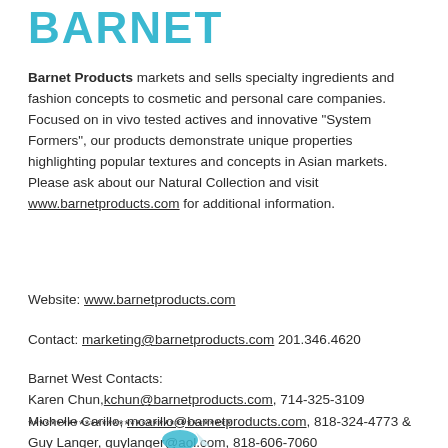BARNET
Barnet Products markets and sells specialty ingredients and fashion concepts to cosmetic and personal care companies. Focused on in vivo tested actives and innovative "System Formers", our products demonstrate unique properties highlighting popular textures and concepts in Asian markets. Please ask about our Natural Collection and visit www.barnetproducts.com for additional information.
Website: www.barnetproducts.com
Contact: marketing@barnetproducts.com 201.346.4620
Barnet West Contacts:
Karen Chun,kchun@barnetproducts.com, 714-325-3109
Michelle Carillo, mcarillo@barnetproducts.com, 818-324-4773 &
Guy Langer, guylanger@aol.com, 818-606-7060
************************************
[Figure (logo): Barnet company logo partial view at bottom of page]